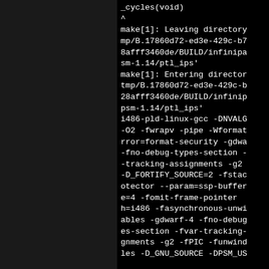_cycles(void)
^
make[1]: Leaving directory
mp/B.17860d72-ed3e-429c-b7
8afff3460de/BUILD/infinipa
sm-1.14/ptl_ips'
make[1]: Entering director
tmp/B.17860d72-ed3e-429c-b
28afff3460de/BUILD/infinip
psm-1.14/ptl_ips'
i486-pld-linux-gcc -DNVALG
-O2 -fwrapv -pipe -Wformat
rror=format-security -gdwa
-fno-debug-types-section -
-tracking-assignments -g2
-D_FORTIFY_SOURCE=2 -fstac
otector --param=ssp-buffer
e=4 -fomit-frame-pointer
h=i486 -fasynchronous-unwi
ables -gdwarf-4 -fno-debug
es-section -fvar-tracking-
gnments -g2 -fPIC -funwind
les -D_GNU_SOURCE -DPSM_US